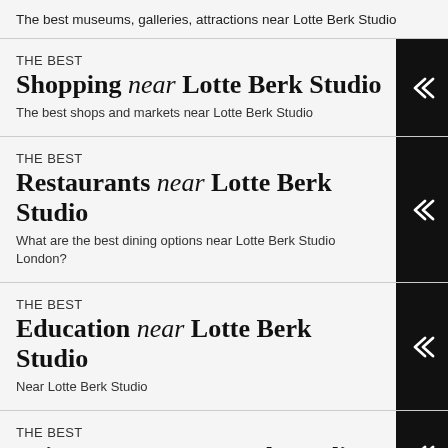The best museums, galleries, attractions near Lotte Berk Studio
THE BEST Shopping near Lotte Berk Studio
The best shops and markets near Lotte Berk Studio
THE BEST Restaurants near Lotte Berk Studio
What are the best dining options near Lotte Berk Studio London?
THE BEST Education near Lotte Berk Studio
Near Lotte Berk Studio
THE BEST Leisure near Lotte Berk Studio